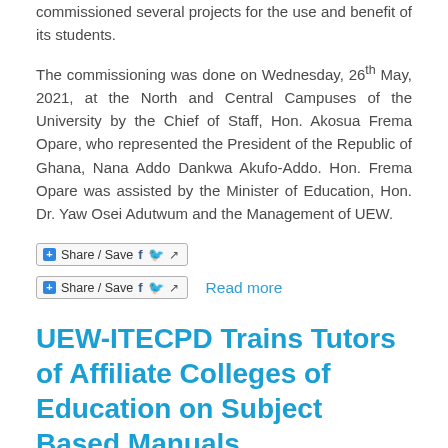commissioned several projects for the use and benefit of its students.
The commissioning was done on Wednesday, 26th May, 2021, at the North and Central Campuses of the University by the Chief of Staff, Hon. Akosua Frema Opare, who represented the President of the Republic of Ghana, Nana Addo Dankwa Akufo-Addo. Hon. Frema Opare was assisted by the Minister of Education, Hon. Dr. Yaw Osei Adutwum and the Management of UEW.
[Figure (other): Share / Save button with Facebook, Twitter, and share icons]
[Figure (other): Share / Save button with Facebook, Twitter, and share icons, followed by Read more link]
UEW-ITECPD Trains Tutors of Affiliate Colleges of Education on Subject Based Manuals